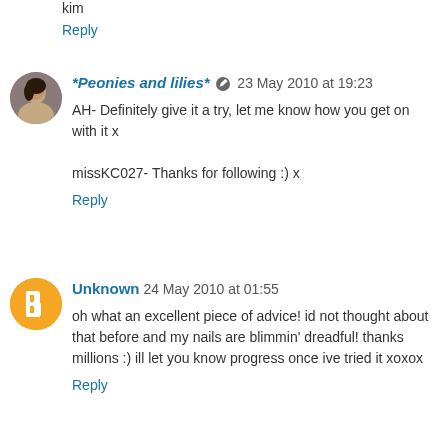kim
Reply
*Peonies and lilies*  23 May 2010 at 19:23
AH- Definitely give it a try, let me know how you get on with it x

missKC027- Thanks for following :) x
Reply
Unknown  24 May 2010 at 01:55
oh what an excellent piece of advice! id not thought about that before and my nails are blimmin' dreadful! thanks millions :) ill let you know progress once ive tried it xoxox
Reply